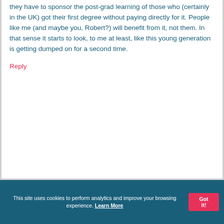they have to sponsor the post-grad learning of those who (certainly in the UK) got their first degree without paying directly for it. People like me (and maybe you, Robert?) will benefit from it, not them. In that sense it starts to look, to me at least, like this young generation is getting dumped on for a second time.
Reply
This site uses cookies to perform analytics and improve your browsing experience. Learn More Got it!